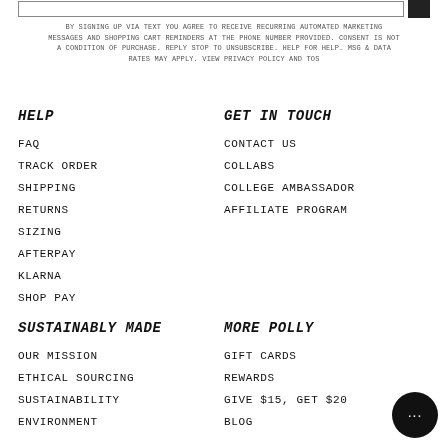BY SIGNING UP VIA TEXT YOU AGREE TO RECEIVE RECURRING AUTOMATED MARKETING MESSAGES AND SHOPPING CART REMINDERS AT THE PHONE NUMBER PROVIDED. CONSENT IS NOT A CONDITION OF PURCHASE. REPLY STOP TO UNSUBSCRIBE. HELP FOR HELP. MSG & DATA RATES MAY APPLY. VIEW PRIVACY POLICY AND TOS
HELP
FAQ
TRACK ORDER
SHIPPING
RETURNS
SIZING
AFTERPAY
KLARNA
SHOP PAY
GET IN TOUCH
CONTACT US
COLLABS
COLLEGE AMBASSADOR
AFFILIATE PROGRAM
SUSTAINABLY MADE
OUR MISSION
ETHICAL SOURCING
SUSTAINABILITY
ENVIRONMENT
MORE POLLY
GIFT CARDS
REWARDS
GIVE $15, GET $20
BLOG